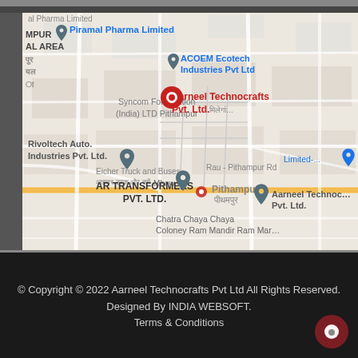[Figure (map): Google Maps screenshot showing location of Aarneel Technocrafts Pvt. Ltd. in Pithampur industrial area near Indore, India. Shows nearby landmarks including Piramal Pharma Limited, ACOEM Ecotech Industries Pvt Ltd, Syncom Formulation (India) LTD Pithampur, Rivoltech Auto. Industries Pvt. Ltd., Eicher Truck and Buses, AR TRANSFORMERS PVT. LTD., Rau - Pithampur Rd, Chatra Chaya Coloney Ram Mandir. The selected location (red pin) is Aarneel Technocrafts Pvt. Ltd.]
© Copyright © 2022 Aarneel Technocrafts Pvt Ltd All Rights Reserved. Designed By INDIA WEBSOFT. Terms & Conditions